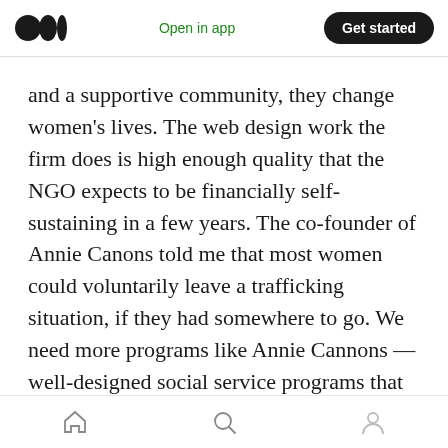Medium logo | Open in app | Get started
and a supportive community, they change women's lives. The web design work the firm does is high enough quality that the NGO expects to be financially self-sustaining in a few years. The co-founder of Annie Canons told me that most women could voluntarily leave a trafficking situation, if they had somewhere to go. We need more programs like Annie Cannons — well-designed social service programs that help people to build successful lives.
In the wake of the murder of George Floyd by police, we are at a historic moment where
Home | Search | Profile